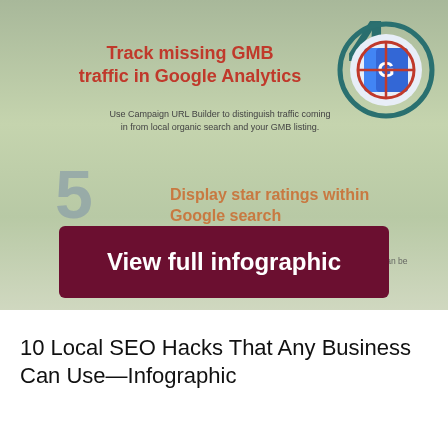[Figure (infographic): Infographic section showing step 4: Track missing GMB traffic in Google Analytics, with a Google Maps target icon in a teal circle, and step 5: Display star ratings within Google search, with a star icon in a gray circle]
View full infographic
10 Local SEO Hacks That Any Business Can Use—Infographic